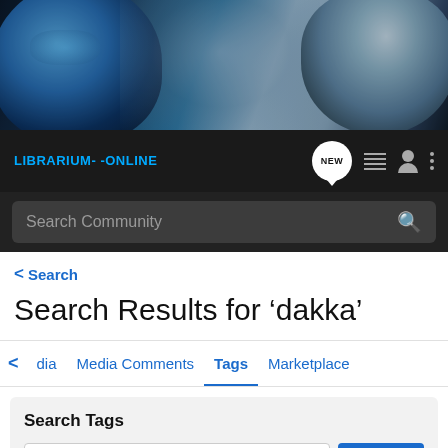[Figure (illustration): Fantasy/sci-fi banner image with armored blue helmet figure on left and pale armored figure on right, dark teal/blue color scheme]
LIBRARIUM-ONLINE — navigation bar with NEW chat bubble, list icon, user icon, kebab menu
Search Community
< Search
Search Results for ‘dakka’
< dia   Media Comments   Tags   Marketplace
Search Tags
× dakka   Search